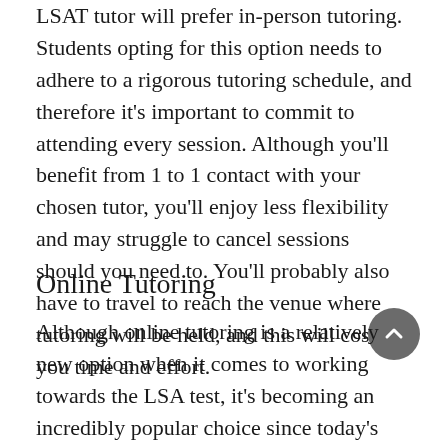LSAT tutor will prefer in-person tutoring. Students opting for this option needs to adhere to a rigorous tutoring schedule, and therefore it's important to commit to attending every session. Although you'll benefit from 1 to 1 contact with your chosen tutor, you'll enjoy less flexibility and may struggle to cancel sessions should you need to. You'll probably also have to travel to reach the venue where tutoring will be held, and this will cost you time and effort.
Online Tutoring
Although online tutoring is a relatively new option when it comes to working towards the LSA test, it's becoming an incredibly popular choice since today's advanced video calling technology allows for convenient learning. There's no need to travel